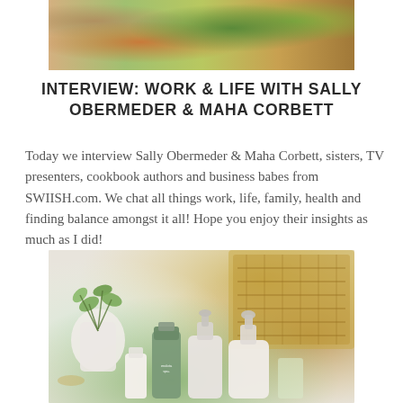[Figure (photo): Photo of fresh vegetables and food ingredients on a white surface including green bell pepper, carrots, broccoli, green onions, and various other colorful vegetables]
INTERVIEW: WORK & LIFE WITH SALLY OBERMEDER & MAHA CORBETT
Today we interview Sally Obermeder & Maha Corbett, sisters, TV presenters, cookbook authors and business babes from SWIISH.com. We chat all things work, life, family, health and finding balance amongst it all! Hope you enjoy their insights as much as I did!
[Figure (photo): Photo of skincare/beauty products in green and white packaging arranged with green eucalyptus leaves, a glass vase with plants, and a woven basket in the background]